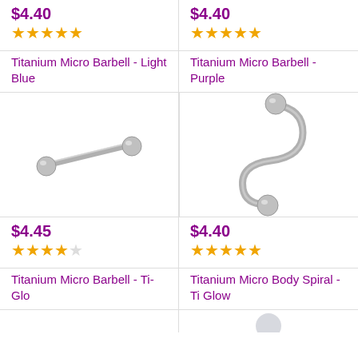$4.40
★★★★★
Titanium Micro Barbell - Light Blue
$4.40
★★★★★
Titanium Micro Barbell - Purple
[Figure (photo): Silver titanium micro barbell with two ball ends, straight bar]
[Figure (photo): Silver titanium micro body spiral with two ball ends, twisted/curved bar]
$4.45
★★★★☆
Titanium Micro Barbell - Ti-Glo
$4.40
★★★★★
Titanium Micro Body Spiral - Ti Glow
[Figure (photo): Partial view of another titanium product at bottom]